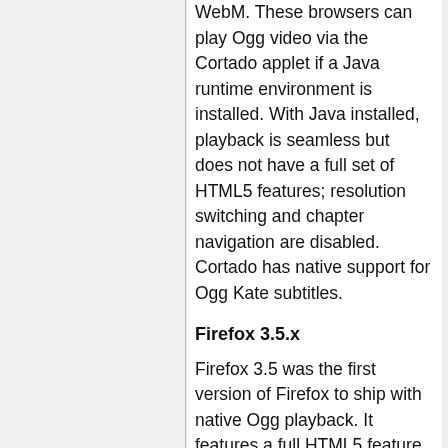WebM. These browsers can play Ogg video via the Cortado applet if a Java runtime environment is installed. With Java installed, playback is seamless but does not have a full set of HTML5 features; resolution switching and chapter navigation are disabled. Cortado has native support for Ogg Kate subtitles.
Firefox 3.5.x
Firefox 3.5 was the first version of Firefox to ship with native Ogg playback. It features a full HTML5 feature set, though it is known to be relatively slow about seeking and navigation.
Seeking may work poorly if your connectivity to the media passes through a proxy which strips HTTP range requests.